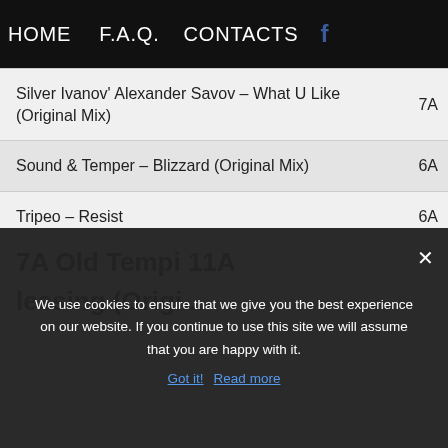HOME   F.A.Q.   CONTACTS   f
| Track |  |
| --- | --- |
| Silver Ivanov' Alexander Savov – What U Like (Original Mix) | 7A |
| Sound & Temper – Blizzard (Original Mix) | 6A |
| Tripeo – Resist | 6A |
| Tripeo – Tuesday Blues (Hvl Wreckage) | 7A |
| Ucha – Vol Drome (Original Mix) | 11A |
| Unknown Artist – Unknown B1 06 | 7A |
| Unrealnumbers – Unseen (Varya Karpova |  |
We use cookies to ensure that we give you the best experience on our website. If you continue to use this site we will assume that you are happy with it.
Got it!  Read more